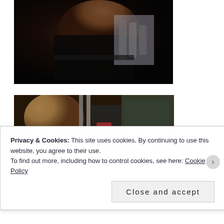[Figure (photo): Photo of person wearing black top, dark background]
[Figure (photo): Photo of blonde person in subway/train car interior]
Privacy & Cookies: This site uses cookies. By continuing to use this website, you agree to their use.
To find out more, including how to control cookies, see here: Cookie Policy
Close and accept